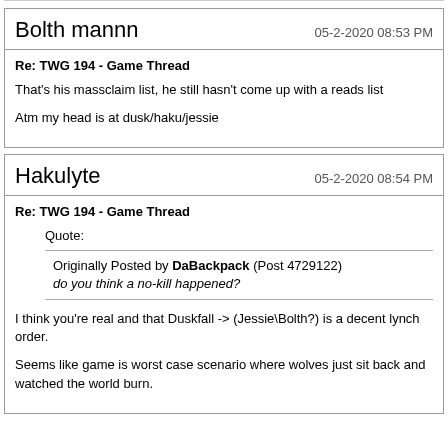Bolth mannn
05-2-2020 08:53 PM
Re: TWG 194 - Game Thread
That's his massclaim list, he still hasn't come up with a reads list
Atm my head is at dusk/haku/jessie
Hakulyte
05-2-2020 08:54 PM
Re: TWG 194 - Game Thread
Quote: Originally Posted by DaBackpack (Post 4729122) do you think a no-kill happened?
I think you're real and that Duskfall -> (Jessie\Bolth?) is a decent lynch order.
Seems like game is worst case scenario where wolves just sit back and watched the world burn.